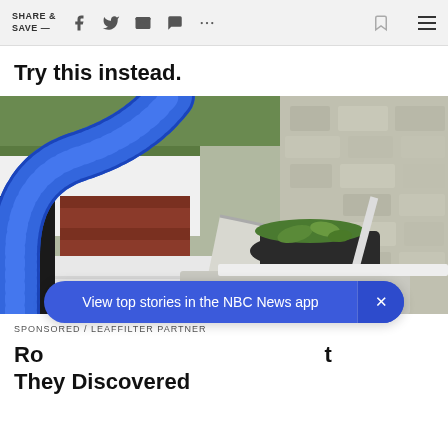SHARE & SAVE —
Try this instead.
[Figure (photo): A blue flexible hose/vacuum attachment being used to clean debris from a residential rain gutter, with a brick wall and textured stone wall visible in the background]
SPONSORED / LEAFFILTER PARTNER
Ro... t They Discovered
View top stories in the NBC News app